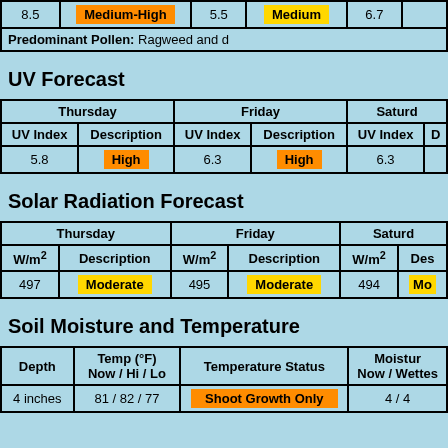|  |  |  |  |  |  |
| --- | --- | --- | --- | --- | --- |
| 8.5 | Medium-High | 5.5 | Medium | 6.7 |  |
| Predominant Pollen: Ragweed and ... |
UV Forecast
| Thursday |  | Friday |  | Saturday |  |
| --- | --- | --- | --- | --- | --- |
| UV Index | Description | UV Index | Description | UV Index | D |
| 5.8 | High | 6.3 | High | 6.3 |  |
Solar Radiation Forecast
| Thursday |  | Friday |  | Saturday |  |
| --- | --- | --- | --- | --- | --- |
| W/m² | Description | W/m² | Description | W/m² | Des |
| 497 | Moderate | 495 | Moderate | 494 | Mo |
Soil Moisture and Temperature
| Depth | Temp (°F) Now / Hi / Lo | Temperature Status | Moisture Now / Wettest |
| --- | --- | --- | --- |
| 4 inches | 81 / 82 / 77 | Shoot Growth Only | 4 / 4 |